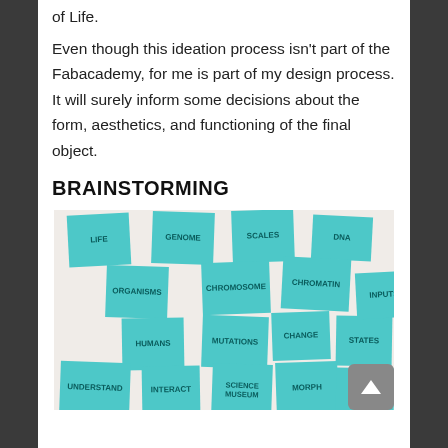of Life.
Even though this ideation process isn't part of the Fabacademy, for me is part of my design process. It will surely inform some decisions about the form, aesthetics, and functioning of the final object.
BRAINSTORMING
[Figure (photo): A collection of blue sticky notes arranged on a light background. The notes contain handwritten words: LIFE, GENOME, SCALES, DNA, ORGANISMS, CHROMOSOME, CHROMATIN, HUMANS, MUTATIONS, CHANGE, STATES, INPUTS, UNDERSTAND, INTERACT, SCIENCE MUSEUM, MORPH, KINETIC]